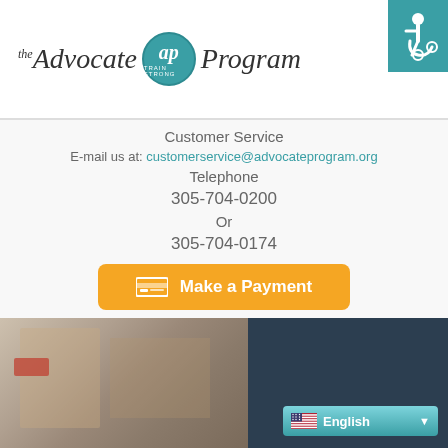[Figure (logo): The Advocate Program logo with teal circular 'ap' emblem and tagline 'Train Strong']
[Figure (illustration): Accessibility wheelchair icon in teal square]
Customer Service
E-mail us at: customerservice@advocateprogram.org
Telephone
305-704-0200
Or
305-704-0174
Technical help
For account login or registration problems please contact:
E-mail us at: itsupport@advocateprogram.org
[Figure (other): Orange 'Make a Payment' button with credit card icon]
[Figure (photo): Bottom section showing blurred boxes photo on left and dark navy background on right with English language selector]